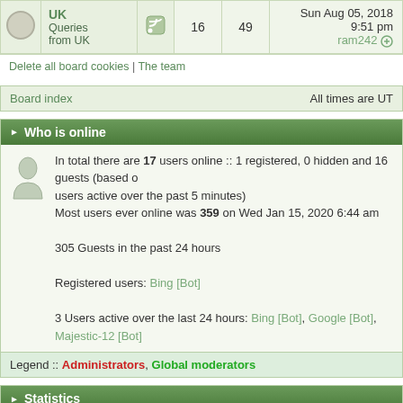|  | Name | Feed | Posts | Topics | Last post |
| --- | --- | --- | --- | --- | --- |
|  | UK Queries from UK |  | 16 | 49 | Sun Aug 05, 2018 9:51 pm
ram242 |
Delete all board cookies | The team
Board index    All times are UT
Who is online
In total there are 17 users online :: 1 registered, 0 hidden and 16 guests (based on users active over the past 5 minutes)
Most users ever online was 359 on Wed Jan 15, 2020 6:44 am

305 Guests in the past 24 hours

Registered users: Bing [Bot]

3 Users active over the last 24 hours: Bing [Bot], Google [Bot], Majestic-12 [Bot]
Legend :: Administrators, Global moderators
Statistics
Total posts 96321 | Total topics 14063 | Total members 18528 | Our newest member atulthakur111

Activity over the last 24 hours
New Posts 0 | New Topics 0 | New users 165
Login